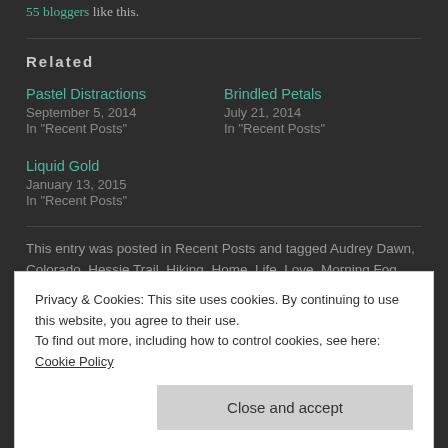55 bloggers like this.
Related
Pastel Distractions
September 5, 2014
In "Recent Posts"
Brindled Petals
July 21, 2014
In "Recent Posts"
Liquid Gold
January 13, 2015
In "Recent Posts"
This entry was posted in Recent Posts and tagged Audrey Dawn, Colorado, Hessie Trail, Hiking, Home, Life, Love, Morning Fog, Photography, Poetry, Rocky Mountains, Roosevelt National Park
Privacy & Cookies: This site uses cookies. By continuing to use this website, you agree to their use.
To find out more, including how to control cookies, see here: Cookie Policy
Close and accept